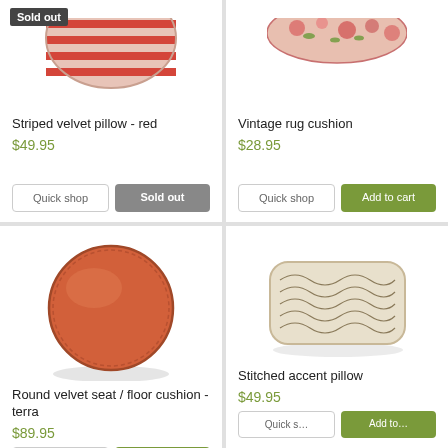[Figure (photo): Striped velvet pillow - red, sold out badge overlay]
Striped velvet pillow - red
$49.95
[Figure (photo): Vintage rug cushion product image]
Vintage rug cushion
$28.95
[Figure (photo): Round orange velvet seat/floor cushion - terra]
Round velvet seat / floor cushion - terra
$89.95
[Figure (photo): Stitched accent pillow with wavy line pattern in cream/beige]
Stitched accent pillow
$49.95